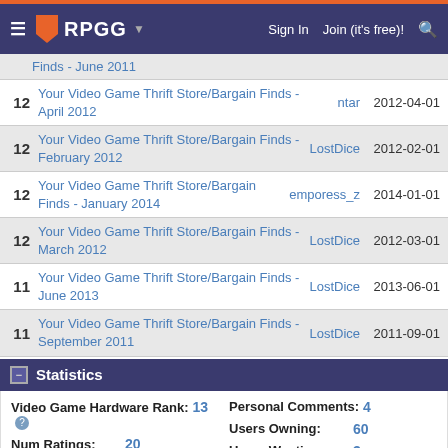RPGG — Sign In | Join (it's free)!
| # | Title | User | Date |
| --- | --- | --- | --- |
| 12 | Your Video Game Thrift Store/Bargain Finds - April 2012 | ntar | 2012-04-01 |
| 12 | Your Video Game Thrift Store/Bargain Finds - February 2012 | LostDice | 2012-02-01 |
| 12 | Your Video Game Thrift Store/Bargain Finds - January 2014 | emporess_z | 2014-01-01 |
| 12 | Your Video Game Thrift Store/Bargain Finds - March 2012 | LostDice | 2012-03-01 |
| 11 | Your Video Game Thrift Store/Bargain Finds - June 2013 | LostDice | 2013-06-01 |
| 11 | Your Video Game Thrift Store/Bargain Finds - September 2011 | LostDice | 2011-09-01 |
Statistics
| Label | Value |
| --- | --- |
| Video Game Hardware Rank: | 13 |
| Num Ratings: | 20 |
| Average Rating: | 8.25 |
| Personal Comments: | 4 |
| Users Owning: | 60 |
| Users Wanting: | 3 |
|  | 0 [find |